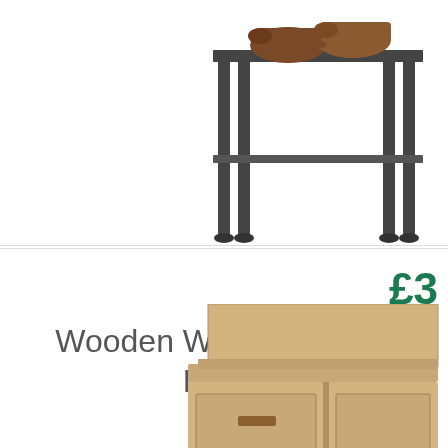[Figure (photo): Metal shoe rack/bench with brown leather shoes on top shelf, dark grey frame with legs, partial view]
£3...
Wooden Work Bench W... Locka...
[Figure (photo): Wooden work bench with drawers and lockable storage, light pine wood, multiple drawers on right side and cupboard door, upper shelf]